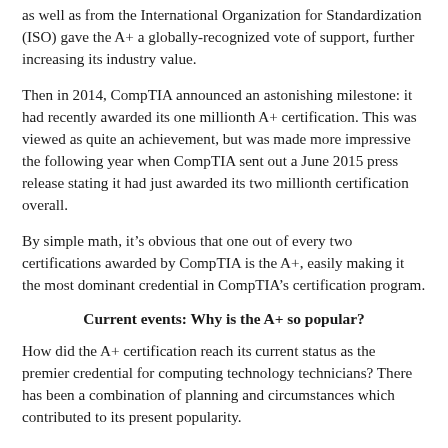as well as from the International Organization for Standardization (ISO) gave the A+ a globally-recognized vote of support, further increasing its industry value.
Then in 2014, CompTIA announced an astonishing milestone: it had recently awarded its one millionth A+ certification. This was viewed as quite an achievement, but was made more impressive the following year when CompTIA sent out a June 2015 press release stating it had just awarded its two millionth certification overall.
By simple math, it’s obvious that one out of every two certifications awarded by CompTIA is the A+, easily making it the most dominant credential in CompTIA’s certification program.
Current events: Why is the A+ so popular?
How did the A+ certification reach its current status as the premier credential for computing technology technicians? There has been a combination of planning and circumstances which contributed to its present popularity.
During its debut year of 1993, CompTIA awarded fewer than 7,000 A+ certifications. Critically, however, the A+ was launched